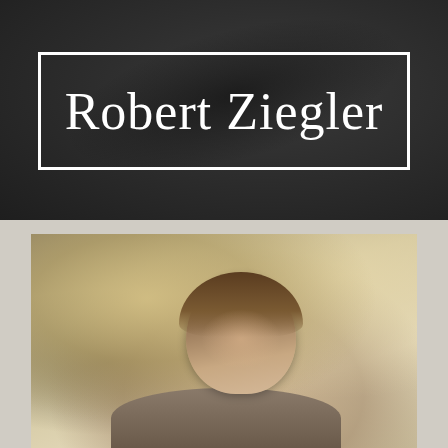Robert Ziegler
[Figure (photo): Portrait photo of a young man with brown wavy/curly hair, photographed outdoors with a blurred bokeh background of warm golden tones and trees]